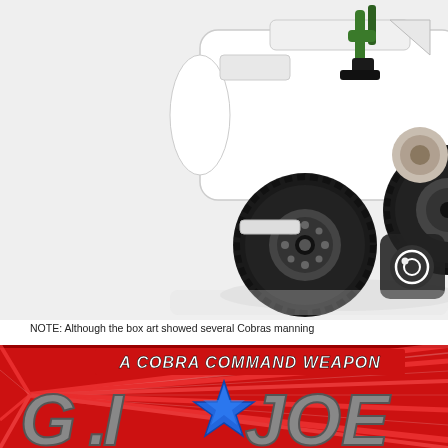[Figure (photo): Close-up photograph of a G.I. Joe toy vehicle — a white wheeled military vehicle with black rubber tire, green and black figure parts, on a white background. A rounded dark square icon with a circular play symbol is visible in the lower right of the photo.]
NOTE: Although the box art showed several Cobras manning
[Figure (photo): Box art image showing 'A COBRA COMMAND WEAPON' banner in white italic text on a dark red background with radiating red and white lines, and the G.I. Joe logo below with a large blue star in the center of blocky grey metallic lettering.]